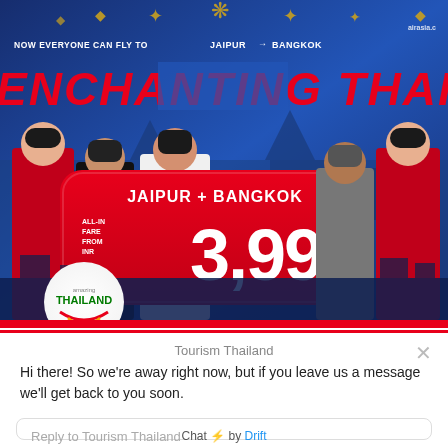[Figure (photo): AirAsia promotional event photo showing staff holding a large sign reading 'JAIPUR + BANGKOK ALL-IN FARE FROM INR 3,999' with 'ENCHANTING THAILAND!' banner in background. Amazing Thailand logo visible bottom-left. Red magenta bar at bottom of image.]
Tourism Thailand
Hi there! So we're away right now, but if you leave us a message we'll get back to you soon.
Reply to Tourism Thailand
Chat ⚡ by Drift